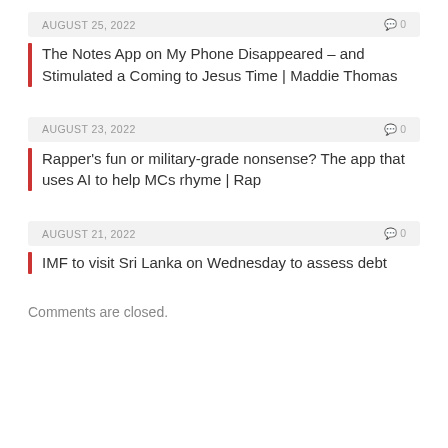AUGUST 25, 2022   0
The Notes App on My Phone Disappeared – and Stimulated a Coming to Jesus Time | Maddie Thomas
AUGUST 23, 2022   0
Rapper's fun or military-grade nonsense? The app that uses AI to help MCs rhyme | Rap
AUGUST 21, 2022   0
IMF to visit Sri Lanka on Wednesday to assess debt
Comments are closed.